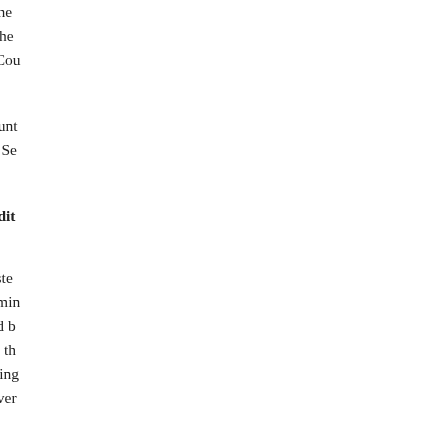arrested by officers from the 610 Office of the their home was ransacked by officers from the Domestic Security Division of the Jiujiang Cou whereabouts are unknown.
Li Wanmu, deputy secretary for Jiujiang Count Tang Hengxiang, officer from the Domestic Se Department: +86-15170251418
3. [Weifang City, Shandong Province] Addit Wang Xinmin
On April 27, 2012, after police officers arreste practitioners, they ransacked Mr. Wang Xinmin confiscated all their Falun Gong lectures and b 500 yuan in cash, a tricycle, a pot serving as th yuan in cash. At the same time, a car belonging Dongying City was confiscated, valued at over